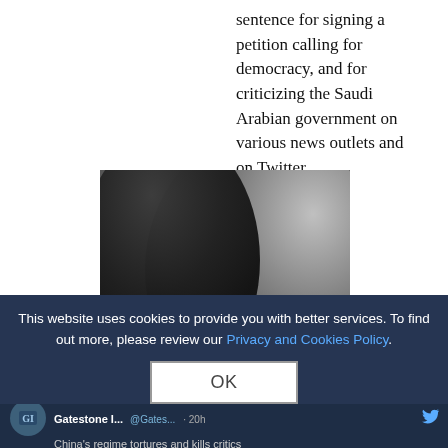sentence for signing a petition calling for democracy, and for criticizing the Saudi Arabian government on various news outlets and on Twitter.
[Figure (photo): Black and white photo of a man smiling over his shoulder, with a silhouette in the foreground. Overlaid quote text reads: “MY VOICE AND THE VOICES OF OTHERS LIKE ME SHALL REACH THE WORLD NO MATTER HOW HARD THEY TRY TO SILENCE US”]
This website uses cookies to provide you with better services. To find out more, please review our Privacy and Cookies Policy.
OK
@Gatestonelnst
Gatestone I... @Gates... · 20h
China's regime tortures and kills critics